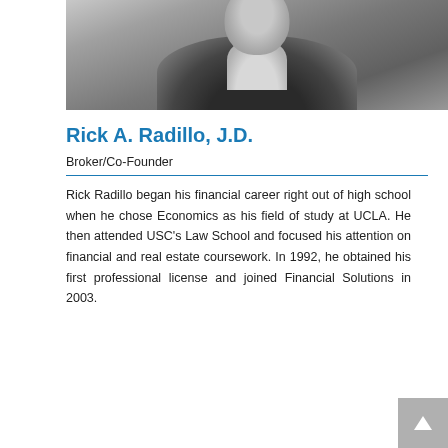[Figure (photo): Black and white photograph of Rick A. Radillo, a man in a suit and open-collar shirt, cropped to show upper torso and partial face]
Rick A. Radillo, J.D.
Broker/Co-Founder
Rick Radillo began his financial career right out of high school when he chose Economics as his field of study at UCLA. He then attended USC's Law School and focused his attention on financial and real estate coursework. In 1992, he obtained his first professional license and joined Financial Solutions in 2003.